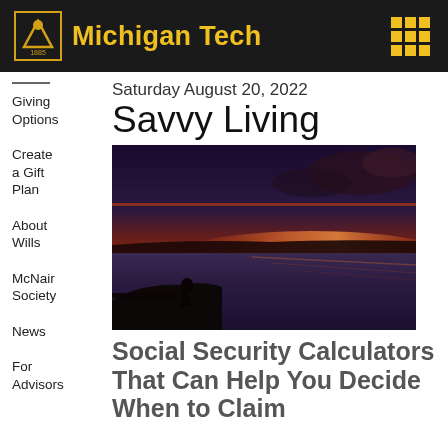Michigan Tech
Saturday August 20, 2022
Savvy Living
Giving Options
Create a Gift Plan
About Wills
McNair Society
News
For Advisors
[Figure (photo): Silhouette of a person sitting on rocks at the ocean's edge during a dramatic sunset with orange and red sky]
Social Security Calculators That Can Help You Decide When to Claim